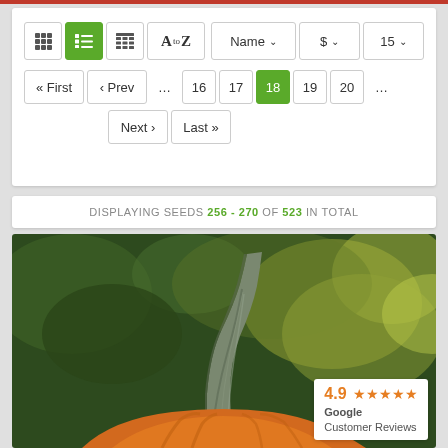DISPLAYING SEEDS 256 - 270 OF 523 IN TOTAL
[Figure (screenshot): Pagination toolbar with view mode icons, sort/filter dropdowns, and page navigation showing pages 16-20 with page 18 active]
[Figure (photo): Close-up photo of a pumpkin stem with blurred green and yellow foliage background]
4.9 ★★★★★ Google Customer Reviews